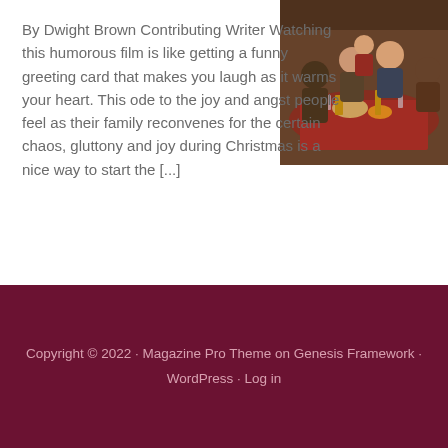By Dwight Brown Contributing Writer Watching this humorous film is like getting a funny greeting card that makes you laugh as it warms your heart. This ode to the joy and angst people feel as their family reconvenes for the certain chaos, gluttony and joy during Christmas is a nice way to start the [...]
[Figure (photo): Photo of a family gathered around a dining table during Christmas, viewed from above and the side, with food and drinks on the table]
Copyright © 2022 · Magazine Pro Theme on Genesis Framework · WordPress · Log in